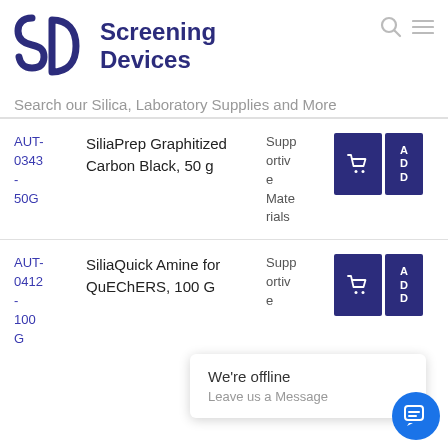[Figure (logo): Screening Devices logo with SD symbol in dark blue/navy]
Search our Silica, Laboratory Supplies and More
| SKU | Product Name | Category | Actions |
| --- | --- | --- | --- |
| AUT-0343-50G | SiliaPrep Graphitized Carbon Black, 50 g | Supportive Materials | Cart / ADD |
| AUT-0412-100G | SiliaQuick Amine for QuEChERS, 100 G | Supportive | Cart / ADD |
We're offline
Leave us a Message